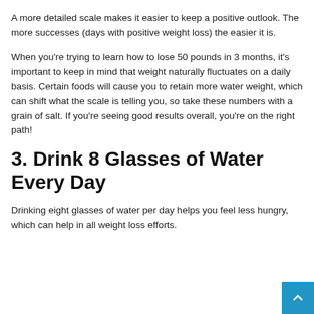A more detailed scale makes it easier to keep a positive outlook. The more successes (days with positive weight loss) the easier it is.
When you're trying to learn how to lose 50 pounds in 3 months, it's important to keep in mind that weight naturally fluctuates on a daily basis. Certain foods will cause you to retain more water weight, which can shift what the scale is telling you, so take these numbers with a grain of salt. If you're seeing good results overall, you're on the right path!
3. Drink 8 Glasses of Water Every Day
Drinking eight glasses of water per day helps you feel less hungry, which can help in all weight loss efforts.